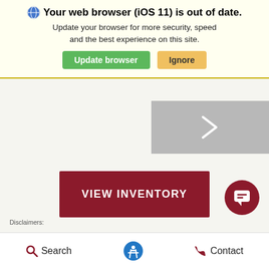Your web browser (iOS 11) is out of date. Update your browser for more security, speed and the best experience on this site. Update browser | Ignore
[Figure (screenshot): Gray slider area with right-pointing chevron arrow]
[Figure (screenshot): Dark red 'VIEW INVENTORY' button]
[Figure (screenshot): Dark red circular chat icon with speech bubble]
Disclaimers:
Search | Accessibility | Contact